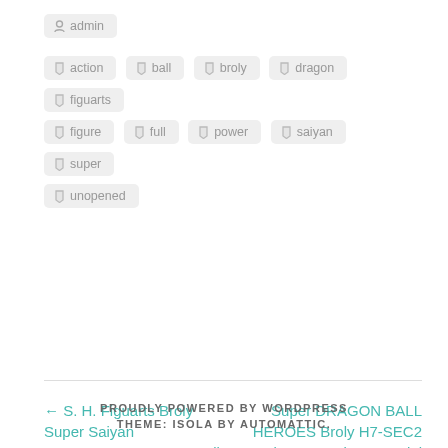admin
action
ball
broly
dragon
figuarts
figure
full
power
saiyan
super
unopened
← S. H. Figuarts Broly Super Saiyan FULLPOWER Dragon Ball Super Figure Bandai Japan
Super DRAGON BALL HEROES Broly H7-SEC2 Card Super Saiyan Bandai Ex+ JP →
PROUDLY POWERED BY WORDPRESS
THEME: ISOLA BY AUTOMATTIC.